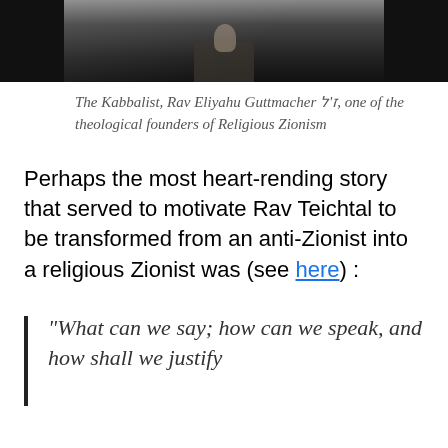[Figure (photo): Black and white photograph cropped at top, showing partial figure in dark clothing]
The Kabbalist, Rav Eliyahu Guttmacher ז'ל, one of the theological founders of Religious Zionism
Perhaps the most heart-rending story that served to motivate Rav Teichtal to be transformed from an anti-Zionist into a religious Zionist was (see here) :
“What can we say; how can we speak, and how shall we justify